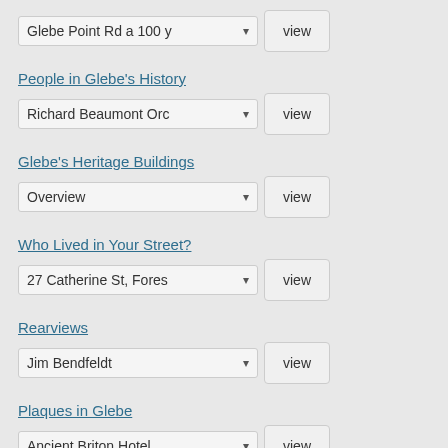Glebe Point Rd a 100 y [dropdown] view
People in Glebe's History
Richard Beaumont Orc [dropdown] view
Glebe's Heritage Buildings
Overview [dropdown] view
Who Lived in Your Street?
27 Catherine St, Fores [dropdown] view
Rearviews
Jim Bendfeldt [dropdown] view
Plaques in Glebe
Ancient Briton Hotel [dropdown] view
Search This Web Site
Search ...